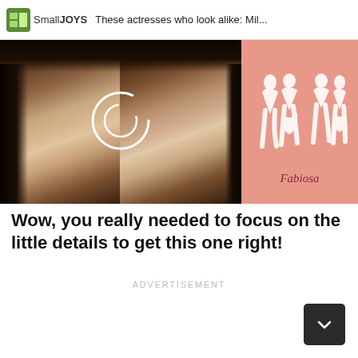SmallJOYS — These actresses who look alike: Mil...
[Figure (photo): Side-by-side photo of two dark-haired actresses who look alike, with a loading spinner circle overlay in the middle. To the right is a pink panel with white silhouette illustrations of couples and the Fabiosa logo in italic text.]
Wow, you really needed to focus on the little details to get this one right!
ADVERTISEMENT